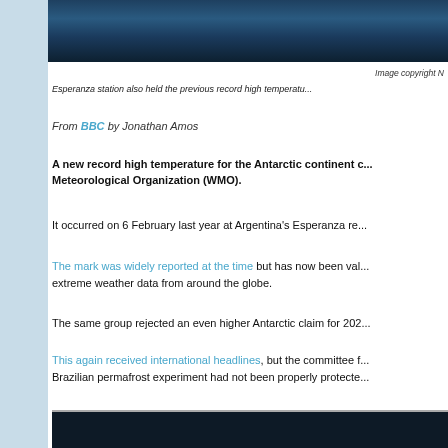[Figure (photo): Partial ocean/water photo strip at top of page, dark blue water]
Image copyright N
Esperanza station also held the previous record high temperatu...
From BBC by Jonathan Amos
A new record high temperature for the Antarctic continent c... Meteorological Organization (WMO).
It occurred on 6 February last year at Argentina's Esperanza re...
The mark was widely reported at the time but has now been val... extreme weather data from around the globe.
The same group rejected an even higher Antarctic claim for 202...
This again received international headlines, but the committee f... Brazilian permafrost experiment had not been properly protecte...
[Figure (photo): Partial photo strip at bottom of page, dark background]